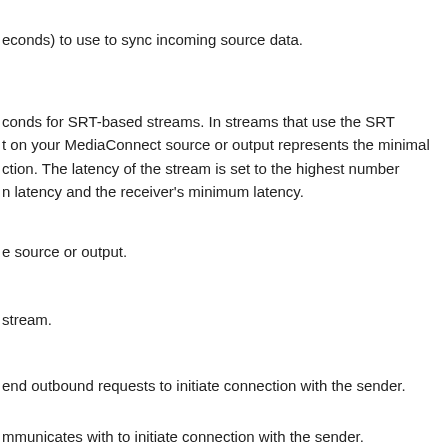econds) to use to sync incoming source data.
conds for SRT-based streams. In streams that use the SRT t on your MediaConnect source or output represents the minimal ction. The latency of the stream is set to the highest number n latency and the receiver's minimum latency.
e source or output.
stream.
end outbound requests to initiate connection with the sender.
mmunicates with to initiate connection with the sender.